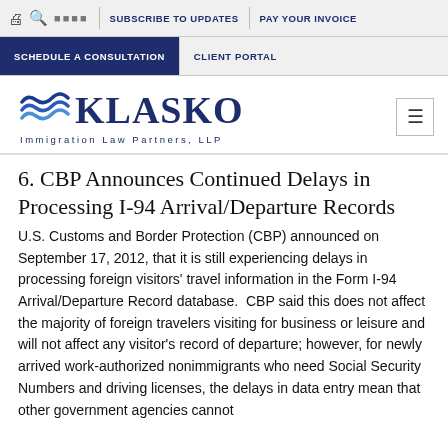SUBSCRIBE TO UPDATES | PAY YOUR INVOICE | SCHEDULE A CONSULTATION | CLIENT PORTAL
[Figure (logo): Klasko Immigration Law Partners, LLP logo with wave graphic]
6. CBP Announces Continued Delays in Processing I-94 Arrival/Departure Records
U.S. Customs and Border Protection (CBP) announced on September 17, 2012, that it is still experiencing delays in processing foreign visitors' travel information in the Form I-94 Arrival/Departure Record database.  CBP said this does not affect the majority of foreign travelers visiting for business or leisure and will not affect any visitor's record of departure; however, for newly arrived work-authorized nonimmigrants who need Social Security Numbers and driving licenses, the delays in data entry mean that other government agencies cannot